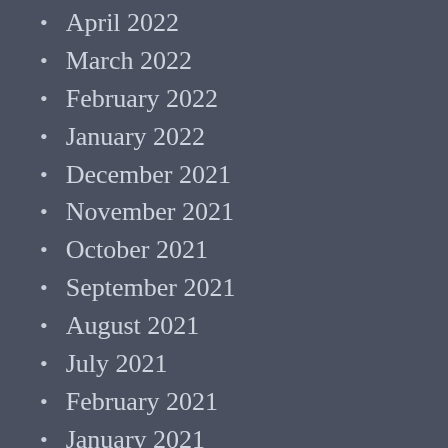April 2022
March 2022
February 2022
January 2022
December 2021
November 2021
October 2021
September 2021
August 2021
July 2021
February 2021
January 2021
December 2020
November 2020
October 2020
September 2020